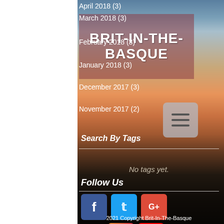April 2018 (3)
March 2018 (3)
February 2018 (3)
January 2018 (3)
December 2017 (3)
November 2017 (2)
[Figure (logo): BRIT-IN-THE-BASQUE logo text overlay with dark red/maroon semi-transparent background]
Search By Tags
No tags yet.
Follow Us
[Figure (infographic): Social media icons: Facebook (blue), Twitter (blue), Google+ (red-orange), Instagram (gradient pink), YouTube (red), Facebook (white outline)]
2021 Copyright Brit-In-The-Basque